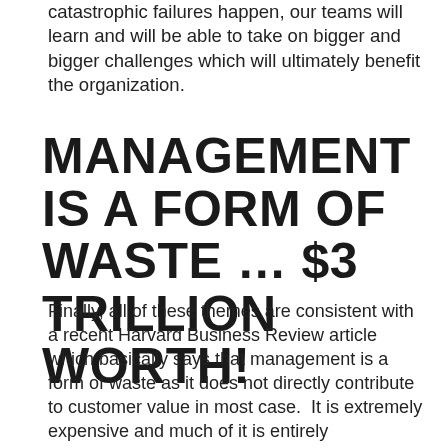catastrophic failures happen, our teams will learn and will be able to take on bigger and bigger challenges which will ultimately benefit the organization.
MANAGEMENT IS A FORM OF WASTE … $3 TRILLION WORTH!
Finally, all of these themes are consistent with a recent Harvard Business Review article which basically says that management is a form of waste as it does not directly contribute to customer value in most case.  It is extremely expensive and much of it is entirely unnecessary.  See the HBR article for more on this fascinating topic.